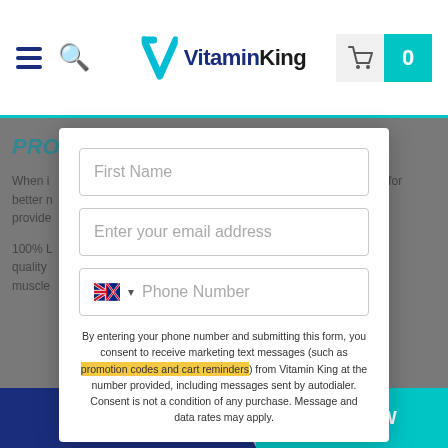VitaminKing header with navigation, logo, and cart
PRO...
When i... ...de a combination ...ate for better n... ...on is the pro... ...will provide... ...tter perform...
100% L... ...0% of the fine... ...h quality ...cious and mi... ...rt muscle... ...out of the gy...
[Figure (screenshot): Modal popup form with First Name field, email address field, phone number field with Australian flag, and consent text about marketing messages]
By entering your phone number and submitting this form, you consent to receive marketing text messages (such as promotion codes and cart reminders) from Vitamin King at the number provided, including messages sent by autodialer. Consent is not a condition of any purchase. Message and data rates may apply.
ADD TO CART IN STOCK - READY TO SHIP | BUY NOW